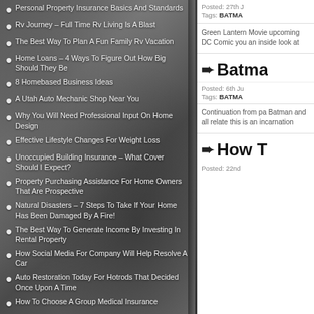Personal Property Insurance Basics And Standards
Rv Journey – Full Time Rv Living Is A Blast
The Best Way To Plan A Fun Family Rv Vacation
Home Loans – 4 Ways To Figure Out How Big Should They Be
8 Homebased Business Ideas
A Utah Auto Mechanic Shop Near You
Why You Will Need Professional Input On Home Design
Effective Lifestyle Changes For Weight Loss
Unoccupied Building Insurance – What Cover Should I Expect?
Property Purchasing Assistance For Home Owners That Are Prospective
Natural Disasters – 7 Steps To Take If Your Home Has Been Damaged By A Fire!
The Best Way To Generate Income By Investing In Rental Property
How Social Media For Company Will Help Resolve A Car
Auto Restoration Today For Hotrods That Decided Once Upon A Time
How To Choose A Group Medical Insurance
Posted: 27th J
Tags: BATMA
Green Lantern Movie upcoming DC Comic you an inside look at
Batma
Posted: 6th Ju
Tags: BATMA
Continuation from pa Batman and all relate this is an incarnation
How T
Posted: 22nd